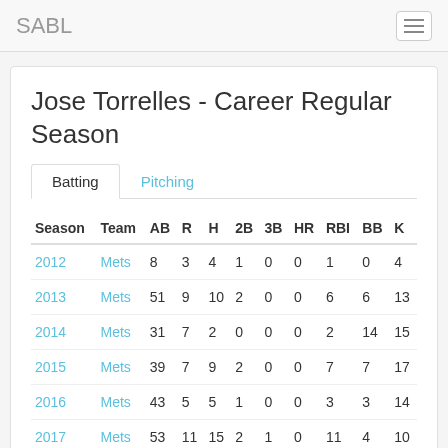SABL
Jose Torrelles - Career Regular Season
Batting | Pitching
| Season | Team | AB | R | H | 2B | 3B | HR | RBI | BB | K |
| --- | --- | --- | --- | --- | --- | --- | --- | --- | --- | --- |
| 2012 | Mets | 8 | 3 | 4 | 1 | 0 | 0 | 1 | 0 | 4 |
| 2013 | Mets | 51 | 9 | 10 | 2 | 0 | 0 | 6 | 6 | 13 |
| 2014 | Mets | 31 | 7 | 2 | 0 | 0 | 0 | 2 | 14 | 15 |
| 2015 | Mets | 39 | 7 | 9 | 2 | 0 | 0 | 7 | 7 | 17 |
| 2016 | Mets | 43 | 5 | 5 | 1 | 0 | 0 | 3 | 3 | 14 |
| 2017 | Mets | 53 | 11 | 15 | 2 | 1 | 0 | 11 | 4 | 10 |